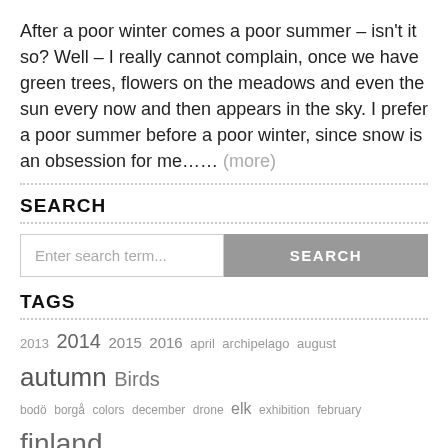After a poor winter comes a poor summer – isn't it so? Well – I really cannot complain, once we have green trees, flowers on the meadows and even the sun every now and then appears in the sky. I prefer a poor summer before a poor winter, since snow is an obsession for me…… (more)
SEARCH
Enter search term... [SEARCH button]
TAGS
2013 2014 2015 2016 april archipelago august autumn Birds bodö borgå colors december drone elk exhibition february finland Henrik Lund july landscape landscapes lapinjärvi lappträsk lundfoto